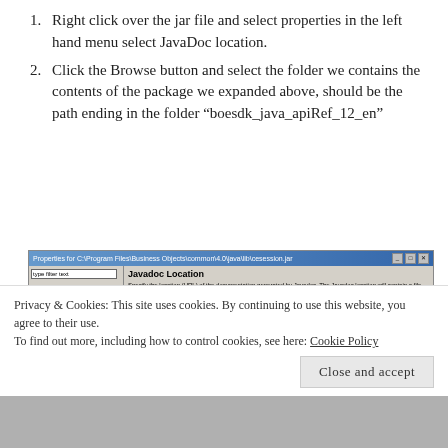Right click over the jar file and select properties in the left hand menu select JavaDoc location.
Click the Browse button and select the folder we contains the contents of the package we expanded above, should be the path ending in the folder “boesdk_java_apiRef_12_en”
[Figure (screenshot): Windows dialog box titled 'Properties for C:\Program Files\Business Objects\common\4.0\java\lib\cesession.jar' showing the Javadoc Location panel with a text field containing 'file:/C:/My Documents/BOE API Documentation/API/API' and Browse and Validate buttons.]
Privacy & Cookies: This site uses cookies. By continuing to use this website, you agree to their use. To find out more, including how to control cookies, see here: Cookie Policy
Close and accept